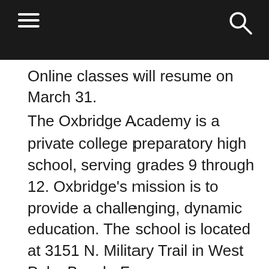[navigation bar with hamburger menu and search icon]
Online classes will resume on March 31.
The Oxbridge Academy is a private college preparatory high school, serving grades 9 through 12. Oxbridge's mission is to provide a challenging, dynamic education. The school is located at 3151 N. Military Trail in West Palm Beach. For more information, visit www.oapb.org or call (561) 972-9600.